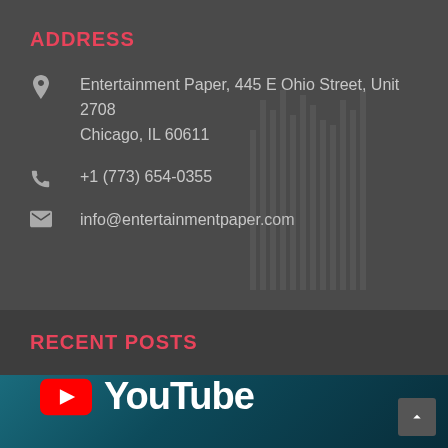ADDRESS
Entertainment Paper, 445 E Ohio Street, Unit 2708 Chicago, IL 60611
+1 (773) 654-0355
info@entertainmentpaper.com
RECENT POSTS
[Figure (logo): YouTube logo with red play button icon and white YouTube text on dark teal background]